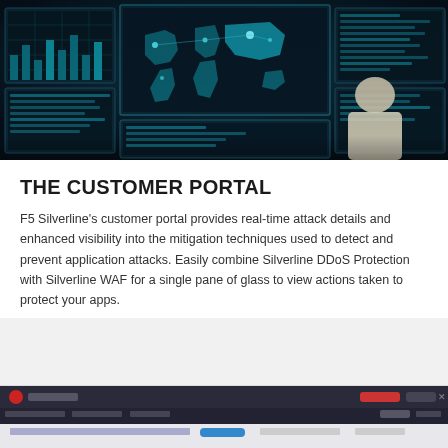[Figure (photo): Security operations center with monitors displaying world map and data visualizations, person visible from behind looking at screens]
THE CUSTOMER PORTAL
F5 Silverline's customer portal provides real-time attack details and enhanced visibility into the mitigation techniques used to detect and prevent application attacks. Easily combine Silverline DDoS Protection with Silverline WAF for a single pane of glass to view actions taken to protect your apps.
[Figure (screenshot): Partial screenshot of the Silverline customer portal interface showing navigation bar and content area]